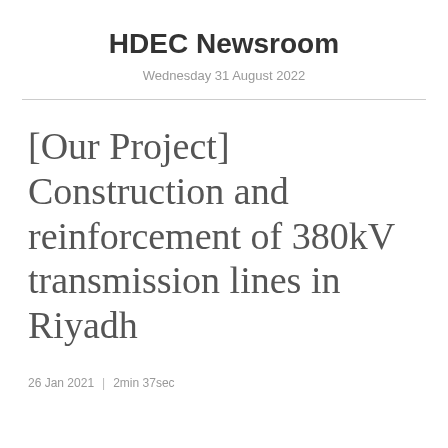HDEC Newsroom
Wednesday 31 August 2022
[Our Project] Construction and reinforcement of 380kV transmission lines in Riyadh
26 Jan 2021  |  2min 37sec